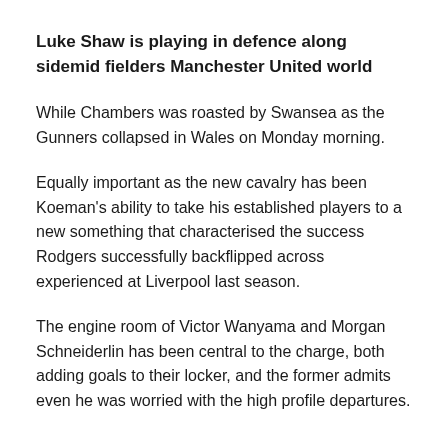Luke Shaw is playing in defence along sidemid fielders Manchester United world
While Chambers was roasted by Swansea as the Gunners collapsed in Wales on Monday morning.
Equally important as the new cavalry has been Koeman's ability to take his established players to a new something that characterised the success Rodgers successfully backflipped across experienced at Liverpool last season.
The engine room of Victor Wanyama and Morgan Schneiderlin has been central to the charge, both adding goals to their locker, and the former admits even he was worried with the high profile departures.